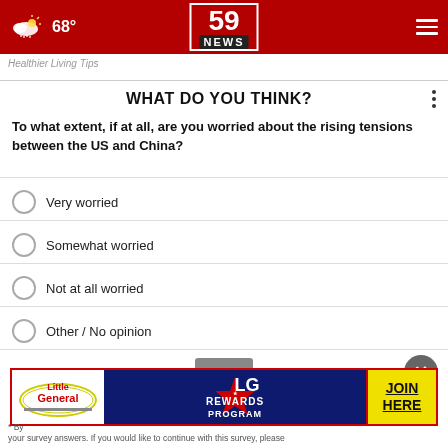68° | 59 NEWS
Healthier Living Tips
WHAT DO YOU THINK?
To what extent, if at all, are you worried about the rising tensions between the US and China?
Very worried
Somewhat worried
Not at all worried
Other / No opinion
[Figure (infographic): Little General / LG Rewards Program advertisement banner with JOIN HERE button]
* By ... your survey answers. If you would like to continue with this survey, please